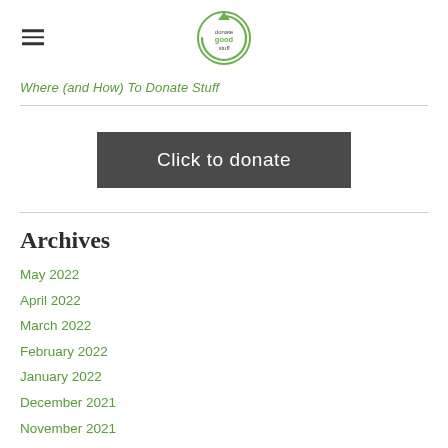donate good stuff logo
Where (and How) To Donate Stuff
Click to donate
Archives
May 2022
April 2022
March 2022
February 2022
January 2022
December 2021
November 2021
August 2021